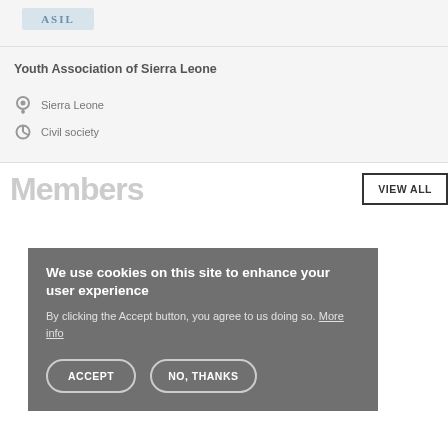[Figure (logo): ASIL logo image at top of card]
Youth Association of Sierra Leone
Sierra Leone
Civil society
Members
VIEW ALL
We use cookies on this site to enhance your user experience
By clicking the Accept button, you agree to us doing so. More info
ACCEPT
NO, THANKS